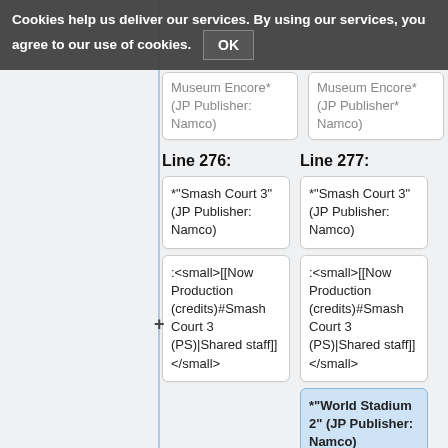Cookies help us deliver our services. By using our services, you agree to our use of cookies. OK
Line 276:
Line 277:
*"Smash Court 3" (JP Publisher: Namco)
*"Smash Court 3" (JP Publisher: Namco)
:<small>[[Now Production (credits)#Smash Court 3 (PS)|Shared staff]]</small>
:<small>[[Now Production (credits)#Smash Court 3 (PS)|Shared staff]]</small>
*"World Stadium 2" (JP Publisher: Namco)
:<small>[[Now Production (credits)#Worl...